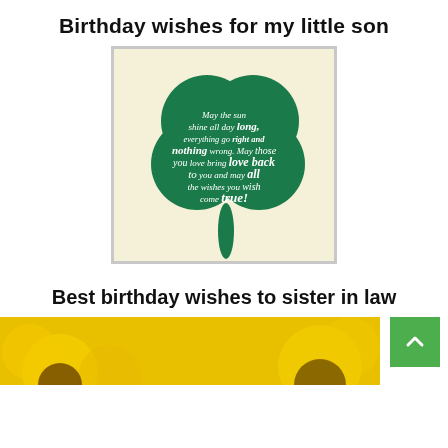Birthday wishes for my little son
[Figure (illustration): Green shamrock/clover illustration on cream background with white cursive text reading: 'May the sun shine all day long, everything go right and nothing wrong. May those you love bring love back to you and may all the wishes you wish come true!']
Best birthday wishes to sister in law
[Figure (photo): Partial view of a sunflower-themed birthday card with yellow/gold background, partially visible at the bottom of the page.]